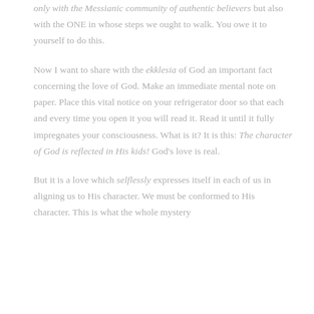only with the Messianic community of authentic believers but also with the ONE in whose steps we ought to walk. You owe it to yourself to do this.
Now I want to share with the ekklesia of God an important fact concerning the love of God. Make an immediate mental note on paper. Place this vital notice on your refrigerator door so that each and every time you open it you will read it. Read it until it fully impregnates your consciousness. What is it? It is this: The character of God is reflected in His kids! God's love is real.
But it is a love which selflessly expresses itself in each of us in aligning us to His character. We must be conformed to His character. This is what the whole mystery